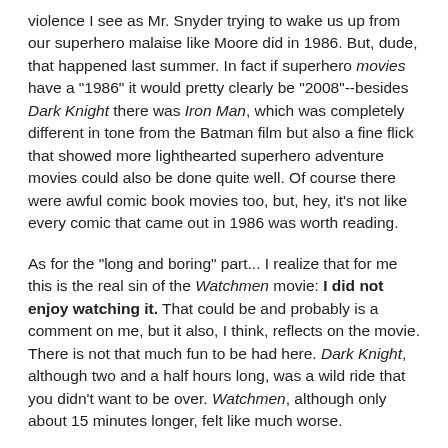violence I see as Mr. Snyder trying to wake us up from our superhero malaise like Moore did in 1986. But, dude, that happened last summer. In fact if superhero movies have a "1986" it would pretty clearly be "2008"--besides Dark Knight there was Iron Man, which was completely different in tone from the Batman film but also a fine flick that showed more lighthearted superhero adventure movies could also be done quite well. Of course there were awful comic book movies too, but, hey, it's not like every comic that came out in 1986 was worth reading.
As for the "long and boring" part... I realize that for me this is the real sin of the Watchmen movie: I did not enjoy watching it. That could be and probably is a comment on me, but it also, I think, reflects on the movie. There is not that much fun to be had here. Dark Knight, although two and a half hours long, was a wild ride that you didn't want to be over. Watchmen, although only about 15 minutes longer, felt like much worse.
I think that works hand-in-hand with its pointlessness. At no time did I feel like the Watchmen movie needed to be made.